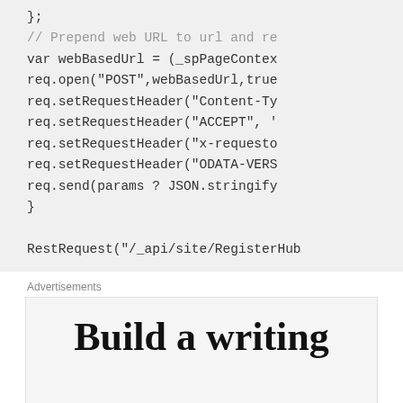};

// Prepend web URL to url and re
var webBasedUrl = (_spPageContex
req.open("POST",webBasedUrl,true
req.setRequestHeader("Content-Ty
req.setRequestHeader("ACCEPT", '
req.setRequestHeader("x-requesto
req.setRequestHeader("ODATA-VERS
req.send(params ? JSON.stringify
}

RestRequest("/_api/site/RegisterHub
Advertisements
Build a writing